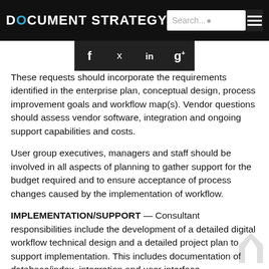DOCUMENT STRATEGY
[Figure (other): Social media sharing icons: Facebook (f), Twitter (bird), LinkedIn (in), Google+ (g+)]
These requests should incorporate the requirements identified in the enterprise plan, conceptual design, process improvement goals and workflow map(s). Vendor questions should assess vendor software, integration and ongoing support capabilities and costs.
User group executives, managers and staff should be involved in all aspects of planning to gather support for the budget required and to ensure acceptance of process changes caused by the implementation of workflow.
IMPLEMENTATION/SUPPORT — Consultant responsibilities include the development of a detailed digital workflow technical design and a detailed project plan to support implementation. This includes documentation of database/index, integration and user interface requirements. The consultant will also need to set up/program the workflow, database and integration with other systems as well as testing, training and on-going maintenance